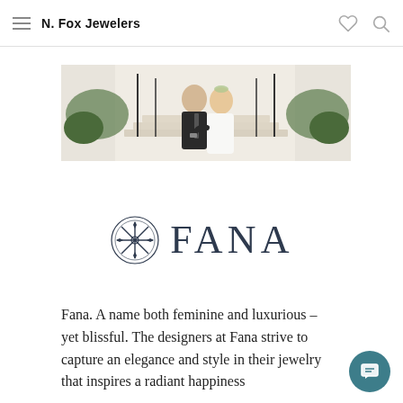N. Fox Jewelers
[Figure (photo): A bride and groom sitting together on stone steps outside a white columned building with greenery. The groom wears a dark suit and the bride wears a white dress.]
[Figure (logo): FANA brand logo: circular snowflake/compass icon followed by the word FANA in large serif letters, in dark navy color.]
Fana. A name both feminine and luxurious – yet blissful. The designers at Fana strive to capture an elegance and style in their jewelry that inspires a radiant happiness